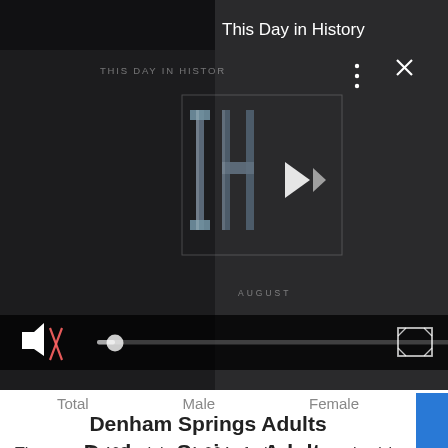[Figure (screenshot): Video player showing 'This Day in History' with play controls, progress bar, mute icon, fullscreen button, and 'AUGUST' text overlay. Right portion shows dark panel with 'This Day in History' white text.]
Total    Male    Female
Denham Springs Adults
There are 7,463 adults, (1,664 of whom are seniors) in Denham Springs.
Denham Springs Age Dependency
Age Dependency Ratio
[Figure (other): Filter/funnel icon on left side]
[Figure (other): Close (X in circle) icon on right side]
[Figure (photo): ULTA beauty advertisement banner showing makeup/cosmetics images with 'SHOP NOW' text]